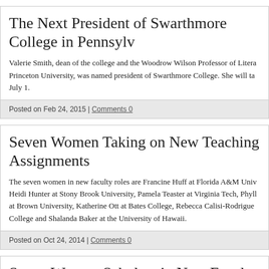The Next President of Swarthmore College in Pennsylv
Valerie Smith, dean of the college and the Woodrow Wilson Professor of Litera Princeton University, was named president of Swarthmore College. She will ta July 1.
Posted on Feb 24, 2015 | Comments 0
Seven Women Taking on New Teaching Assignments
The seven women in new faculty roles are Francine Huff at Florida A&M Univ Heidi Hunter at Stony Brook University, Pamela Teaster at Virginia Tech, Phyll at Brown University, Katherine Ott at Bates College, Rebecca Calisi-Rodrigue College and Shalanda Baker at the University of Hawaii.
Posted on Oct 24, 2014 | Comments 0
Seven Women Scholars in New Faculty Roles
The appointees are Genevieve Robert at Bates College, Lora Weiss at Georgia